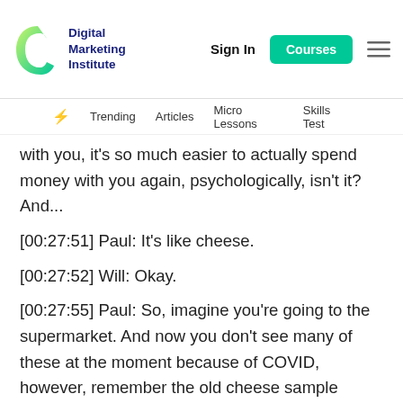Digital Marketing Institute | Sign In | Courses
Trending | Articles | Micro Lessons | Skills Test
with you, it's so much easier to actually spend money with you again, psychologically, isn't it? And...
[00:27:51] Paul: It's like cheese.
[00:27:52] Will: Okay.
[00:27:55] Paul: So, imagine you're going to the supermarket. And now you don't see many of these at the moment because of COVID, however, remember the old cheese sample sections, "Hi, would you like to try the cheese? How many times?" Well, why would they do that, firstly? Why would they do samples? Because